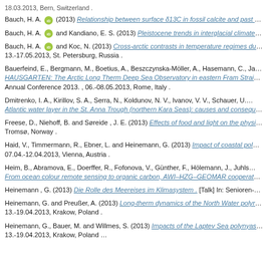18.03.2013, Bern, Switzerland .
Bauch, H. A. [ORCID] (2013) Relationship between surface δ13C in fossil calcite and past …
Bauch, H. A. [ORCID] and Kandiano, E. S. (2013) Pleistocene trends in interglacial climate…
Bauch, H. A. [ORCID] and Koc, N. (2013) Cross-arctic contrasts in temperature regimes du… 13.-17.05.2013, St. Petersburg, Russia .
Bauerfeind, E., Bergmann, M., Boetius, A., Beszczynska-Möller, A., Hasemann, C., Ja… HAUSGARTEN: The Arctic Long Therm Deep Sea Observatory in eastern Fram Strai… Annual Conference 2013. , 06.-08.05.2013, Rome, Italy .
Dmitrenko, I. A., Kirillov, S. A., Serra, N., Koldunov, N. V., Ivanov, V. V., Schauer, U.… Atlantic water layer in the St. Anna Trough (northern Kara Seas): causes and consequ…
Freese, D., Niehoff, B. and Søreide , J. E. (2013) Effects of food and light on the physi… Tromsø, Norway .
Haid, V., Timmermann, R., Ebner, L. and Heinemann, G. (2013) Impact of coastal pol… 07.04.-12.04.2013, Vienna, Austria .
Heim, B., Abramova, E., Doerffer, R., Fofonova, V., Günther, F., Hölemann, J., Juhls… From ocean colour remote sensing to organic carbon, AWI–HZG–GEOMAR cooperat…
Heinemann , G. (2013) Die Rolle des Meereises im Klimasystem . [Talk] In: Senioren-…
Heinemann, G. and Preußer, A. (2013) Long-therm dynamics of the North Water polyr… 13.-19.04.2013, Krakow, Poland .
Heinemann, G., Bauer, M. and Willmes, S. (2013) Impacts of the Laptev Sea polynyas… 13.-19.04.2013, Krakow, Poland .